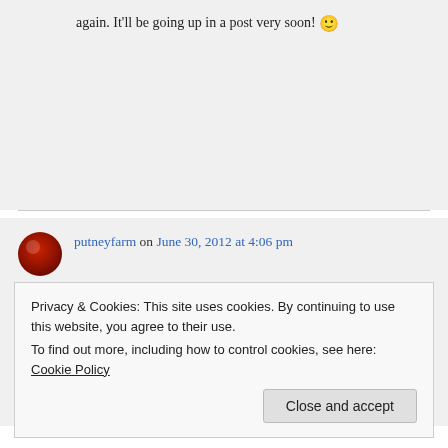again. It'll be going up in a post very soon! 🙂
putneyfarm on June 30, 2012 at 4:06 pm
Glad you liked it!
Privacy & Cookies: This site uses cookies. By continuing to use this website, you agree to their use.
To find out more, including how to control cookies, see here: Cookie Policy